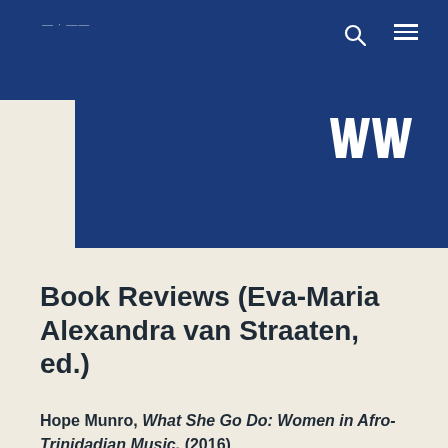[Figure (logo): WWB logo in white on dark blue background, top right of blue decorative block]
Book Reviews (Eva-Maria Alexandra van Straaten, ed.)
Hope Munro, What She Go Do: Women in Afro-Trinidadian Music. (2016)
Charissa Granger